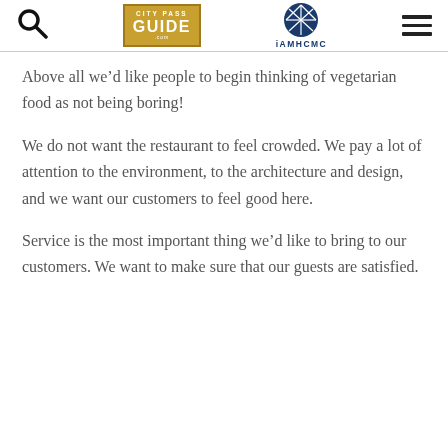City Pass Guide | iAMHCMC
Above all we’d like people to begin thinking of vegetarian food as not being boring!
We do not want the restaurant to feel crowded. We pay a lot of attention to the environment, to the architecture and design, and we want our customers to feel good here.
Service is the most important thing we’d like to bring to our customers. We want to make sure that our guests are satisfied.